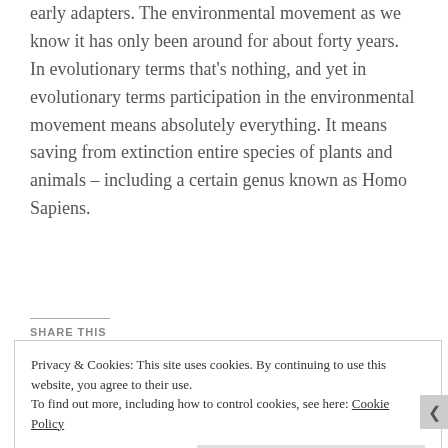early adapters. The environmental movement as we know it has only been around for about forty years. In evolutionary terms that's nothing, and yet in evolutionary terms participation in the environmental movement means absolutely everything. It means saving from extinction entire species of plants and animals – including a certain genus known as Homo Sapiens.
SHARE THIS
Privacy & Cookies: This site uses cookies. By continuing to use this website, you agree to their use.
To find out more, including how to control cookies, see here: Cookie Policy